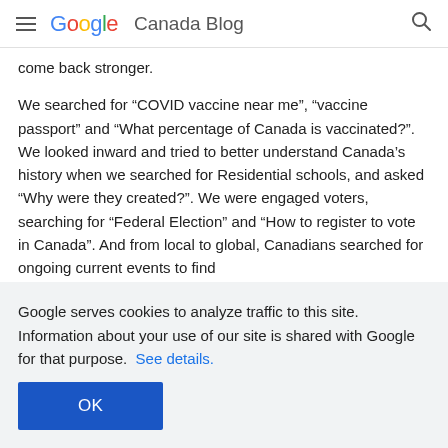Google Canada Blog
come back stronger.
We searched for “COVID vaccine near me”, “vaccine passport” and “What percentage of Canada is vaccinated?”. We looked inward and tried to better understand Canada’s history when we searched for Residential schools, and asked “Why were they created?”. We were engaged voters, searching for “Federal Election” and “How to register to vote in Canada”. And from local to global, Canadians searched for ongoing current events to find information and...
Google serves cookies to analyze traffic to this site. Information about your use of our site is shared with Google for that purpose.  See details.
OK